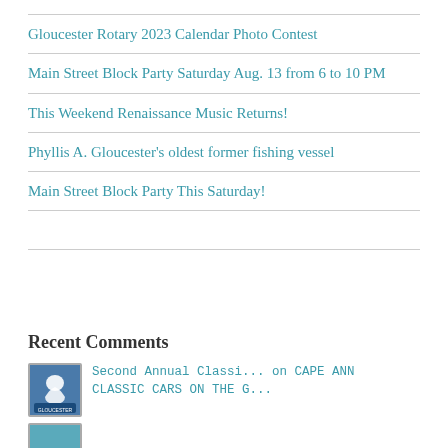Gloucester Rotary 2023 Calendar Photo Contest
Main Street Block Party Saturday Aug. 13 from 6 to 10 PM
This Weekend Renaissance Music Returns!
Phyllis A. Gloucester's oldest former fishing vessel
Main Street Block Party This Saturday!
Recent Comments
Second Annual Classi... on CAPE ANN CLASSIC CARS ON THE G...